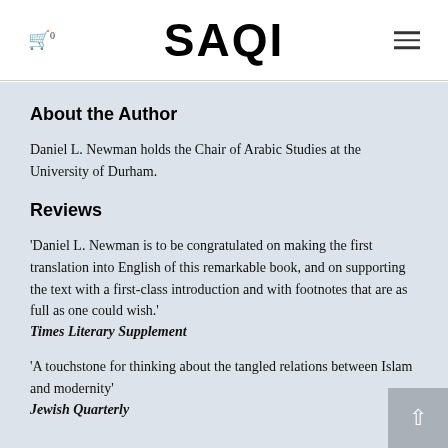SAQI
About the Author
Daniel L. Newman holds the Chair of Arabic Studies at the University of Durham.
Reviews
'Daniel L. Newman is to be congratulated on making the first translation into English of this remarkable book, and on supporting the text with a first-class introduction and with footnotes that are as full as one could wish.' Times Literary Supplement
'A touchstone for thinking about the tangled relations between Islam and modernity' Jewish Quarterly